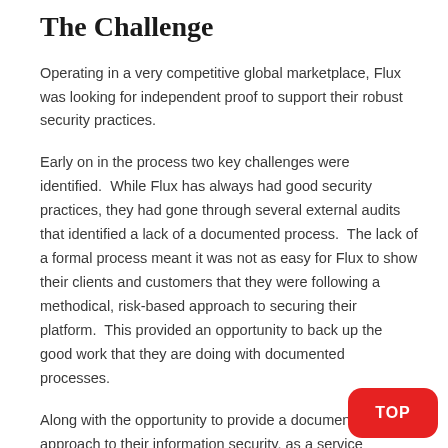The Challenge
Operating in a very competitive global marketplace, Flux was looking for independent proof to support their robust security practices.
Early on in the process two key challenges were identified.  While Flux has always had good security practices, they had gone through several external audits that identified a lack of a documented process.  The lack of a formal process meant it was not as easy for Flux to show their clients and customers that they were following a methodical, risk-based approach to securing their platform.  This provided an opportunity to back up the good work that they are doing with documented processes.
Along with the opportunity to provide a documented approach to their information security, as a service provider who wants to expand into international markets